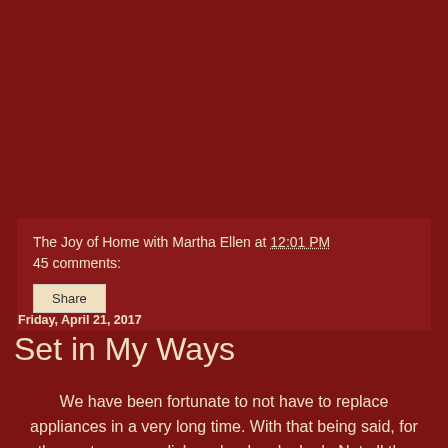The Joy of Home with Martha Ellen at 12:01 PM
45 comments:
Share
Friday, April 21, 2017
Set in My Ways
We have been fortunate to not have to replace appliances in a very long time. With that being said, for the past year our dishwasher has leaked.  Not all the time, just when it felt like